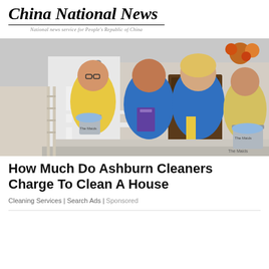China National News
National news service for People's Republic of China
[Figure (photo): Four women in cleaning service uniforms (blue and yellow polo shirts) standing in front of a house entrance holding cleaning supplies and buckets labeled 'The Maids']
How Much Do Ashburn Cleaners Charge To Clean A House
Cleaning Services | Search Ads | Sponsored